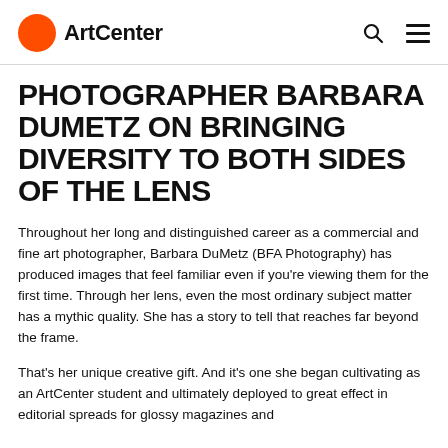ArtCenter
PHOTOGRAPHER BARBARA DUMETZ ON BRINGING DIVERSITY TO BOTH SIDES OF THE LENS
Throughout her long and distinguished career as a commercial and fine art photographer, Barbara DuMetz (BFA Photography) has produced images that feel familiar even if you're viewing them for the first time. Through her lens, even the most ordinary subject matter has a mythic quality. She has a story to tell that reaches far beyond the frame.
That's her unique creative gift. And it's one she began cultivating as an ArtCenter student and ultimately deployed to great effect in editorial spreads for glossy magazines and